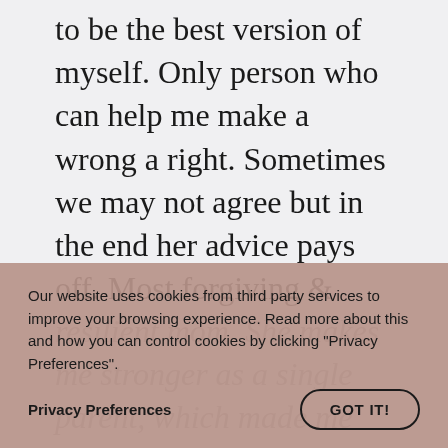to be the best version of myself. Only person who can help me make a wrong a right. Sometimes we may not agree but in the end her advice pays off. Most forgiving &
resilient mom. She makes me stronger as a single parent, which made me see
Our website uses cookies from third party services to improve your browsing experience. Read more about this and how you can control cookies by clicking "Privacy Preferences".
Privacy Preferences
GOT IT!